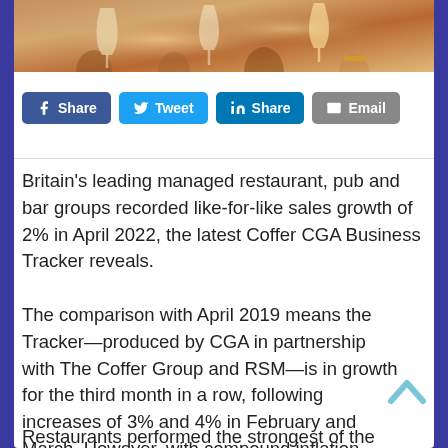[Figure (photo): Photo of people toasting with wine and cocktail glasses at a restaurant or bar, warm amber tones.]
[Figure (screenshot): Social sharing buttons: Facebook Share, Twitter Tweet, LinkedIn Share, Email]
Britain's leading managed restaurant, pub and bar groups recorded like-for-like sales growth of 2% in April 2022, the latest Coffer CGA Business Tracker reveals.
The comparison with April 2019 means the Tracker—produced by CGA in partnership with The Coffer Group and RSM—is in growth for the third month in a row, following increases of 3% and 4% in February and March. However, with compound inflation since early 2019 far exceeding 2%, managed groups' real-terms sales are still below pre-COVID-19 levels.
Restaurants performed the strongest of the Tracker's